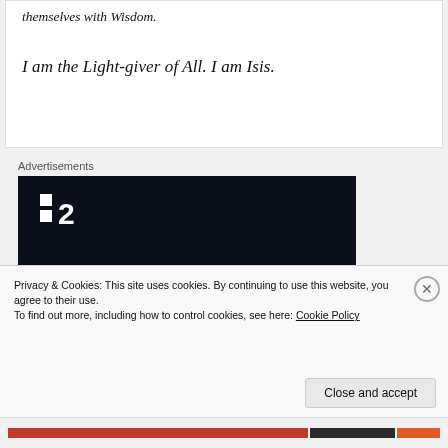themselves with Wisdom.

I am the Light-giver of All. I am Isis.
Advertisements
[Figure (screenshot): Dark advertisement banner with P2 logo and text 'Fewer meetings, more work.']
Privacy & Cookies: This site uses cookies. By continuing to use this website, you agree to their use.
To find out more, including how to control cookies, see here: Cookie Policy
Close and accept